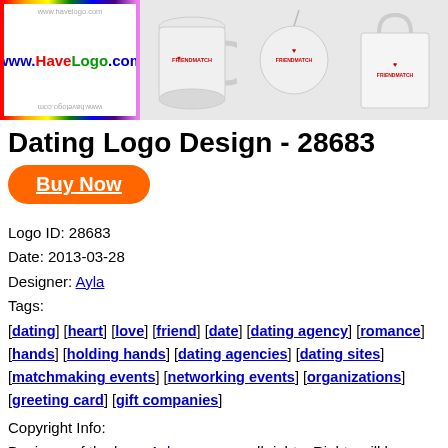[Figure (photo): Header banner with HaveLogo.com logo on left and three product mockups (mug, ball, bag) showing FRIENDMATCH logo on right]
Dating Logo Design - 28683
Buy Now
Logo ID: 28683
Date: 2013-03-28
Designer: Ayla
Tags:
[dating] [heart] [love] [friend] [date] [dating agency] [romance] [hands] [holding hands] [dating agencies] [dating sites] [matchmaking events] [networking events] [organizations] [greeting card] [gift companies]
Copyright Info:
Designer of the logo. Ayla, reserves all rights. Rights will be transferred to the client on purchase.